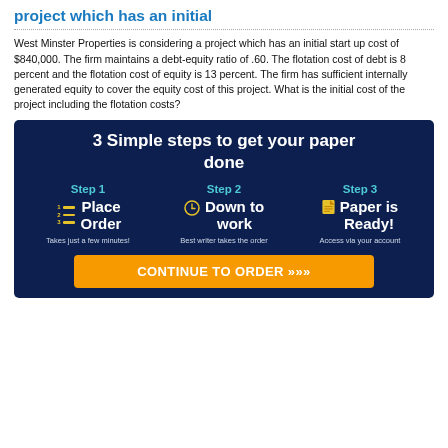project which has an initial
West Minster Properties is considering a project which has an initial start up cost of $840,000. The firm maintains a debt-equity ratio of .60. The flotation cost of debt is 8 percent and the flotation cost of equity is 13 percent. The firm has sufficient internally generated equity to cover the equity cost of this project. What is the initial cost of the project including the flotation costs?
[Figure (infographic): Advertisement box with dark navy background. Title: '3 Simple steps to get your paper done'. Three columns: Step 1 - Place Order (Takes just a few minutes!), Step 2 - Down to work (Best writer takes the order), Step 3 - Paper is Ready! (Access via your account). Orange CTA button: CONTINUE TO ORDER >>>]